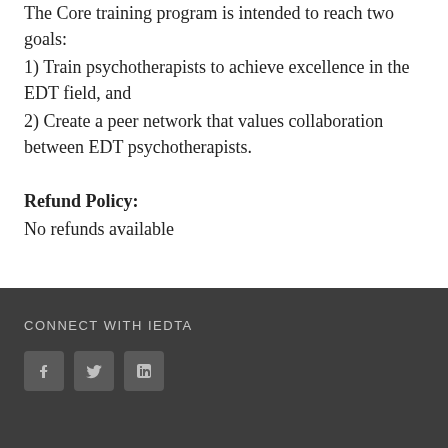The Core training program is intended to reach two goals:
1) Train psychotherapists to achieve excellence in the EDT field, and
2) Create a peer network that values collaboration between EDT psychotherapists.
Refund Policy:
No refunds available
CONNECT WITH IEDTA